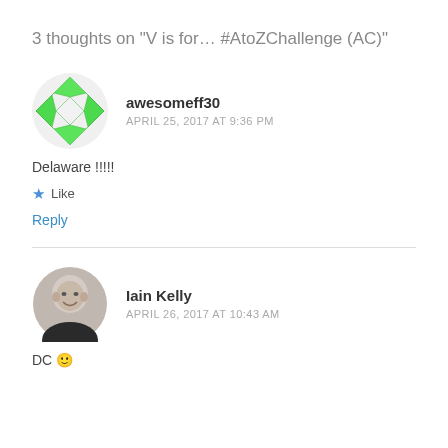3 thoughts on “V is for… #AtoZChallenge (AC)”
awesomeff30
APRIL 25, 2017 AT 9:36 PM
Delaware !!!!!
★ Like
Reply
Iain Kelly
APRIL 26, 2017 AT 10:43 AM
DC 🙂